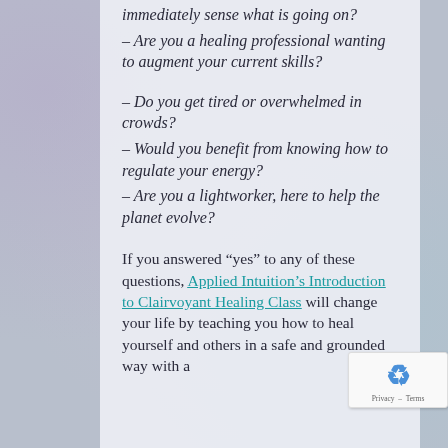– immediately sense what is going on?
– Are you a healing professional wanting to augment your current skills?
– Do you get tired or overwhelmed in crowds?
– Would you benefit from knowing how to regulate your energy?
– Are you a lightworker, here to help the planet evolve?
If you answered “yes” to any of these questions, Applied Intuition’s Introduction to Clairvoyant Healing Class will change your life by teaching you how to heal yourself and others in a safe and grounded way with a